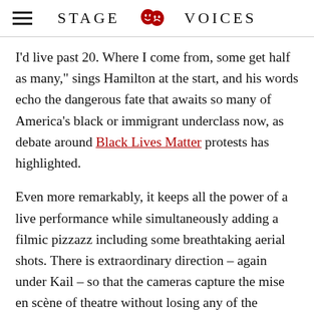STAGE VOICES
I'd live past 20. Where I come from, some get half as many," sings Hamilton at the start, and his words echo the dangerous fate that awaits so many of America's black or immigrant underclass now, as debate around Black Lives Matter protests has highlighted.
Even more remarkably, it keeps all the power of a live performance while simultaneously adding a filmic pizzazz including some breathtaking aerial shots. There is extraordinary direction – again under Kail – so that the cameras capture the mise en scène of theatre without losing any of the